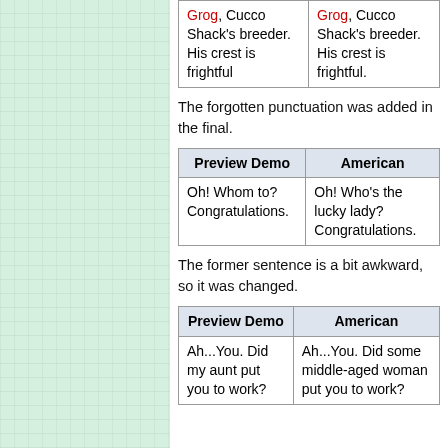| Preview Demo | American |
| --- | --- |
| Grog, Cucco Shack's breeder. His crest is frightful | Grog, Cucco Shack's breeder. His crest is frightful. |
The forgotten punctuation was added in the final.
| Preview Demo | American |
| --- | --- |
| Oh! Whom to? Congratulations. | Oh! Who's the lucky lady? Congratulations. |
The former sentence is a bit awkward, so it was changed.
| Preview Demo | American |
| --- | --- |
| Ah...You. Did my aunt put you to work? | Ah...You. Did some middle-aged woman put you to work? |